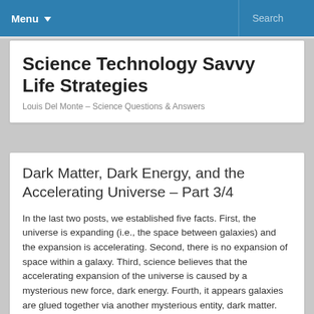Menu ▾  Search
Science Technology Savvy Life Strategies
Louis Del Monte – Science Questions & Answers
Dark Matter, Dark Energy, and the Accelerating Universe – Part 3/4
In the last two posts, we established five facts.  First,  the universe is expanding (i.e., the space between galaxies) and the expansion is accelerating. Second, there is no expansion of space within a galaxy. Third, science believes that the accelerating expansion of the universe is caused by a mysterious new force, dark energy. Fourth, it appears galaxies are glued together via another mysterious entity, dark matter. Lastly, dark matter only exists within a galaxy and not between galaxies. These facts have been confirmed and are widely accepted in the scientific community.